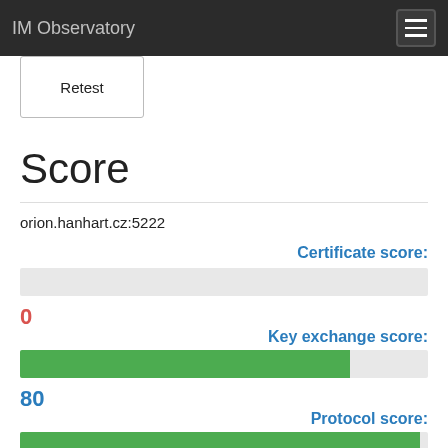IM Observatory
Retest
Score
orion.hanhart.cz:5222
Certificate score:
0
Key exchange score:
80
Protocol score: